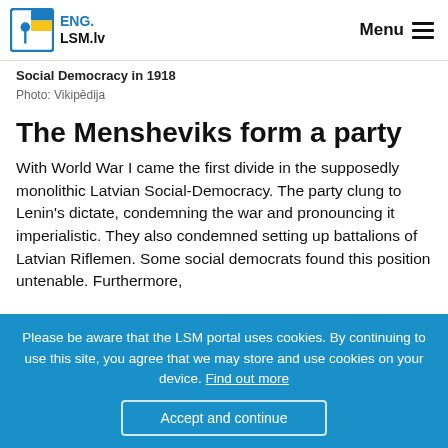ENG.LSM.lv — Menu
Social Democracy in 1918
Photo: Vikipēdija
The Mensheviks form a party
With World War I came the first divide in the supposedly monolithic Latvian Social-Democracy. The party clung to Lenin's dictate, condemning the war and pronouncing it imperialistic. They also condemned setting up battalions of Latvian Riflemen. Some social democrats found this position untenable. Furthermore,
Please be aware that the LSM portal uses cookies. By continuing to use this site, you agree that we may store and use cookies on your device. Find out more
Accept and continue